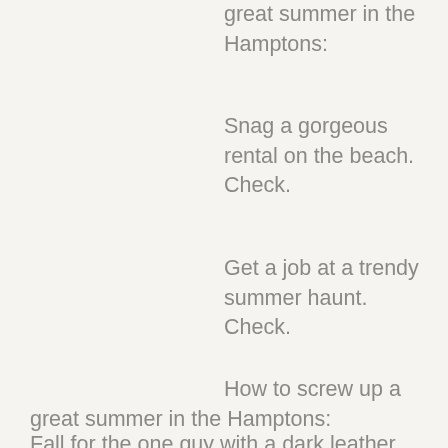great summer in the Hamptons:
Snag a gorgeous rental on the beach. Check.
Get a job at a trendy summer haunt. Check.
How to screw up a great summer in the Hamptons:
Fall for the one guy with a dark leather jacket, scruff on his face, and intense eyes that doesn't fit in with the rest of the tony looking crowd. A guy you can't have when you'll be